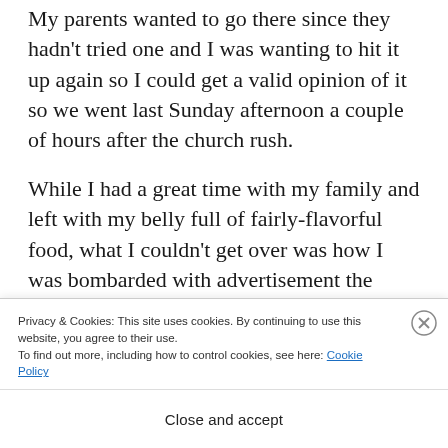My parents wanted to go there since they hadn't tried one and I was wanting to hit it up again so I could get a valid opinion of it so we went last Sunday afternoon a couple of hours after the church rush.
While I had a great time with my family and left with my belly full of fairly-flavorful food, what I couldn't get over was how I was bombarded with advertisement the moment I walked in. T-shirts...
Privacy & Cookies: This site uses cookies. By continuing to use this website, you agree to their use.
To find out more, including how to control cookies, see here: Cookie Policy
Close and accept